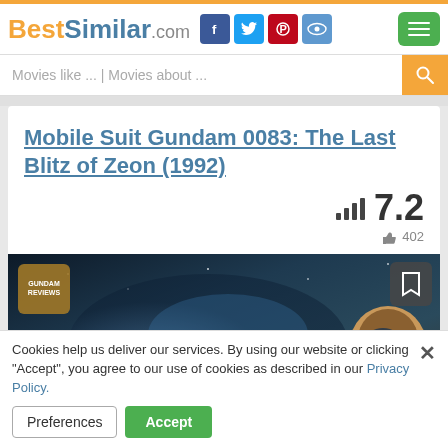BestSimilar.com
Movies like ... | Movies about ...
Mobile Suit Gundam 0083: The Last Blitz of Zeon (1992)
7.2
402
[Figure (screenshot): Anime movie thumbnail showing a space scene with a character in the foreground and a planet/space background, with a small logo badge in the top-left and a bookmark icon in the top-right]
Cookies help us deliver our services. By using our website or clicking "Accept", you agree to our use of cookies as described in our Privacy Policy.